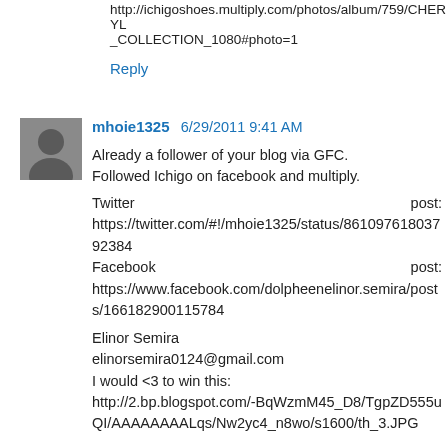http://ichigoshoes.multiply.com/photos/album/759/CHERYL_COLLECTION_1080#photo=1
Reply
mhoie1325 6/29/2011 9:41 AM
Already a follower of your blog via GFC.
Followed Ichigo on facebook and multiply.

Twitter post:
https://twitter.com/#!/mhoie1325/status/86109761803792384
Facebook post:
https://www.facebook.com/dolpheenelinor.semira/posts/166182900115784

Elinor Semira
elinorsemira0124@gmail.com
I would <3 to win this:
http://2.bp.blogspot.com/-BqWzmM45_D8/TgpZD555uQI/AAAAAAAALqs/Nw2yc4_n8wo/s1600/th_3.JPG